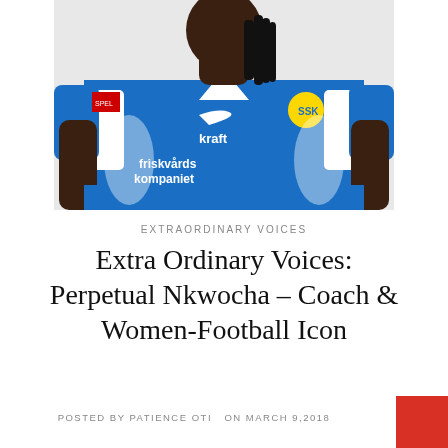[Figure (photo): A woman wearing a blue Nike football jersey with 'friskvårds kompaniet' sponsor text, 'kraft' logo, SSK club badge, and SPEL patch. She has dreadlocks and is photographed from chest up against a white background.]
EXTRAORDINARY VOICES
Extra Ordinary Voices: Perpetual Nkwocha – Coach & Women-Football Icon
POSTED BY PATIENCE OTI  ON MARCH 9,2018